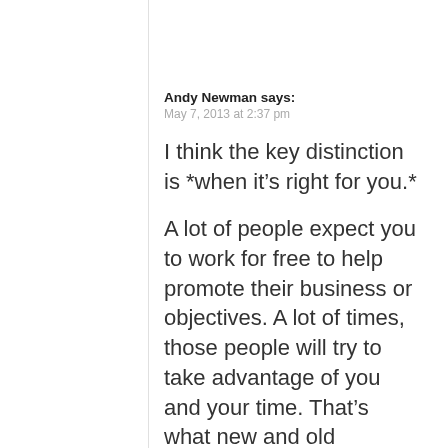Andy Newman says:
May 7, 2013 at 2:37 pm
I think the key distinction is *when it’s right for you.*
A lot of people expect you to work for free to help promote their business or objectives. A lot of times, those people will try to take advantage of you and your time. That’s what new and old filmmakers alike need to be aware of. I don’t believe